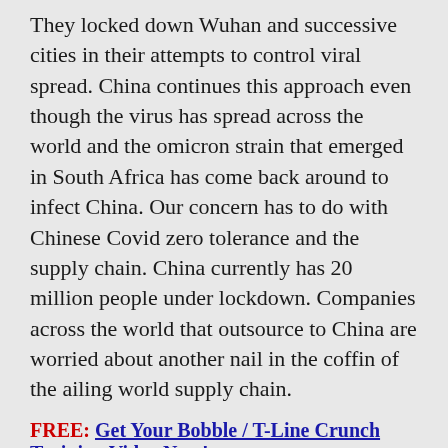They locked down Wuhan and successive cities in their attempts to control viral spread. China continues this approach even though the virus has spread across the world and the omicron strain that emerged in South Africa has come back around to infect China. Our concern has to do with Chinese Covid zero tolerance and the supply chain. China currently has 20 million people under lockdown. Companies across the world that outsource to China are worried about another nail in the coffin of the ailing world supply chain.
FREE: Get Your Bobble / T-Line Crunch Training Video Now!
How to Best Contain Covid
Because Covid-19 is transmitted by coughs, sneezes, and even loud talking through the air simple